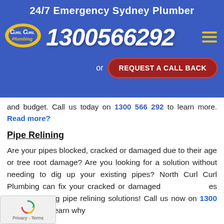24/7 Emergency Sydney Plumber
[Figure (logo): Curl Curl Plumbing logo — oval shape with yellow border, blue interior, white text 'Curl Curl' and yellow italic 'Plumbing' below]
1300566292
or REQUEST A CALL BACK
and budget. Call us today on 1300 566 292 to learn more. Read more?
Pipe Relining
Are your pipes blocked, cracked or damaged due to their age or tree root damage? Are you looking for a solution without needing to dig up your existing pipes? North Curl Curl Plumbing can fix your cracked or damaged pipes with our no dig pipe relining solutions! Call us now on 1300 566 292 and learn why we are the number one North Curl Curl